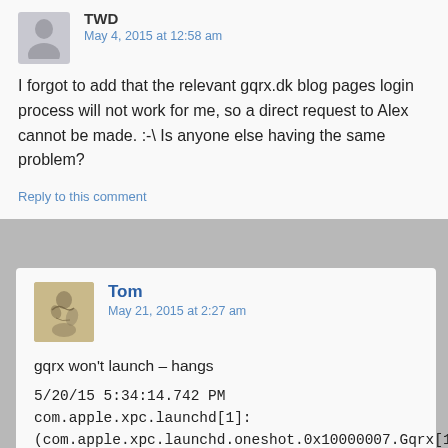TWD
May 4, 2015 at 12:58 am
I forgot to add that the relevant gqrx.dk blog pages login process will not work for me, so a direct request to Alex cannot be made. :-\ Is anyone else having the same problem?
Reply to this comment
Tom
May 21, 2015 at 2:27 am
gqrx won't launch – hangs
5/20/15 5:34:14.742 PM com.apple.xpc.launchd[1]: (com.apple.xpc.launchd.oneshot.0x10000007.Gqrx[1035]) Service exited due to signal: Killed: 9
5/20/15 5:34:24.691 PM Gqrx[1042]: WARNING: The